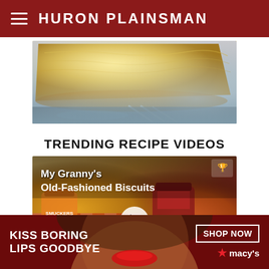HURON PLAINSMAN
[Figure (photo): Close-up photo of a slice of coconut or crumb pie on a dark plate with silverware visible in the background]
TRENDING RECIPE VIDEOS
[Figure (screenshot): Video thumbnail for 'My Granny's Old-Fashioned Biscuits' showing biscuits with red checkered cloth, Smucker's jam jar, and a play button overlay]
[Figure (photo): Advertisement banner: 'KISS BORING LIPS GOODBYE' with a woman's face wearing red lipstick, and a 'SHOP NOW' button with Macy's star logo]